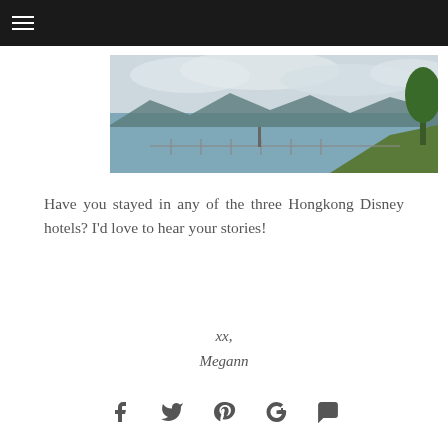≡
[Figure (photo): Panoramic view of a bay with mountains in the background, cloudy sky, green trees on the right edge, and a fence/railing in the foreground. Taken at Hong Kong Disneyland resort area.]
Have you stayed in any of the three Hongkong Disney hotels? I'd love to hear your stories!
xx,
Megann
[Figure (infographic): Social sharing icons: Facebook, Twitter, Pinterest, Google+, Comment/speech bubble]